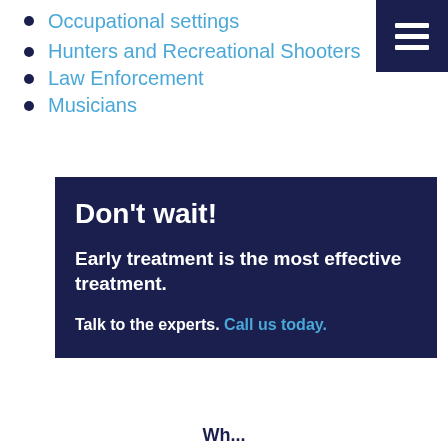Occupational settings
Hunters and Recreational Shooters
Law Enforcement
Musicians
Don't wait!

Early treatment is the most effective treatment.

Talk to the experts. Call us today.
Wh...